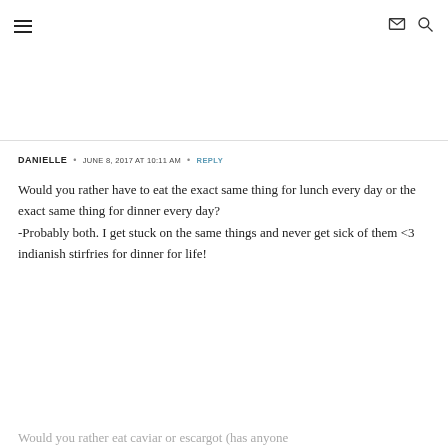[ hamburger menu icon ] [ email icon ] [ search icon ]
DANIELLE • JUNE 8, 2017 AT 10:11 AM • REPLY
Would you rather have to eat the exact same thing for lunch every day or the exact same thing for dinner every day?
-Probably both. I get stuck on the same things and never get sick of them <3 indianish stirfries for dinner for life!
Would you rather eat caviar or escargot (has anyone